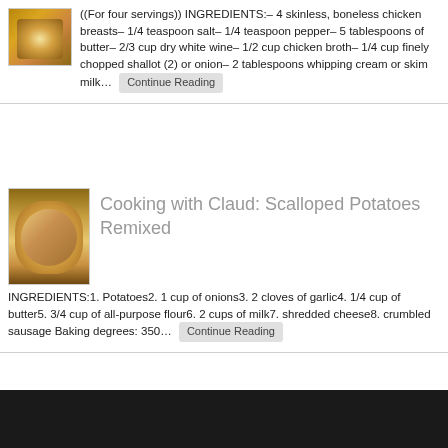[Figure (photo): Food photo thumbnail - chicken dish in bowl]
((For four servings)) INGREDIENTS:– 4 skinless, boneless chicken breasts– 1/4 teaspoon salt– 1/4 teaspoon pepper– 5 tablespoons of butter– 2/3 cup dry white wine– 1/2 cup chicken broth– 1/4 cup finely chopped shallot (2) or onion– 2 tablespoons whipping cream or skim milk…  Continue Reading
[Figure (photo): Food photo thumbnail - scalloped potatoes dish]
Cooking with Claud: Scalloped Potatoes Remixed
INGREDIENTS:1. Potatoes2. 1 cup of onions3. 2 cloves of garlic4. 1/4 cup of butter5. 3/4 cup of all-purpose flour6. 2 cups of milk7. shredded cheese8. crumbled sausage Baking degrees: 350…  Continue Reading
[Figure (photo): Food photo thumbnail - breakfast dish]
Cooking with Claud: Breakfast